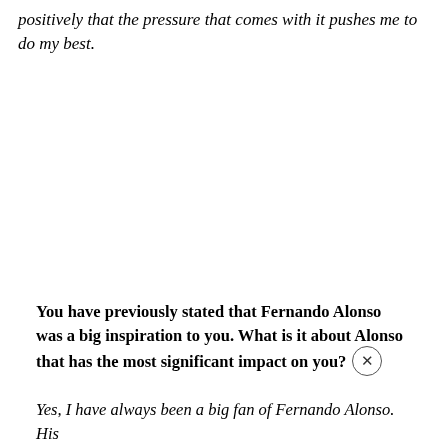positively that the pressure that comes with it pushes me to do my best.
You have previously stated that Fernando Alonso was a big inspiration to you. What is it about Alonso that has the most significant impact on you?
Yes, I have always been a big fan of Fernando Alonso. His ability to get the best out of a car, not to mention the...